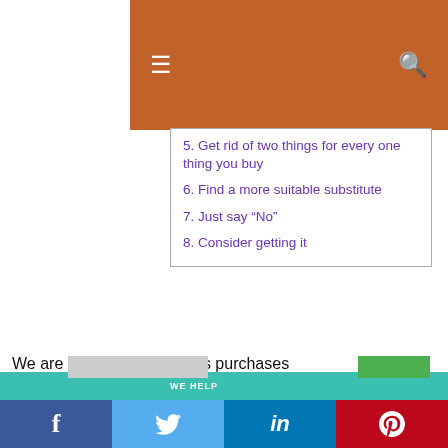Navigation header with hamburger menu and search icon
5. Get rid of two things for every one thing you buy
6. Find a more suitable substitute
7. Just say “No”
8. Consider getting it
We are all guilty of mindless purchases
We use cookies on our website to give you the most relevant experience by remembering your preferences and repeat visits. By clicking “Accept”, you consent to the use of ALL the cookies.
Do not sell my personal information.
Social share bar: Facebook, Twitter, LinkedIn, Pinterest